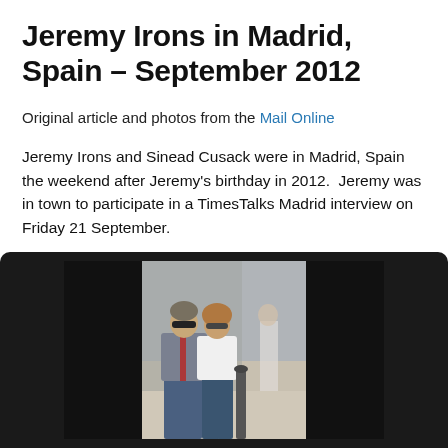Jeremy Irons in Madrid, Spain – September 2012
Original article and photos from the Mail Online
Jeremy Irons and Sinead Cusack were in Madrid, Spain the weekend after Jeremy's birthday in 2012.  Jeremy was in town to participate in a TimesTalks Madrid interview on Friday 21 September.
[Figure (photo): Jeremy Irons and Sinead Cusack photographed together outdoors in Madrid, smiling, with a dark letterbox frame around the photo]